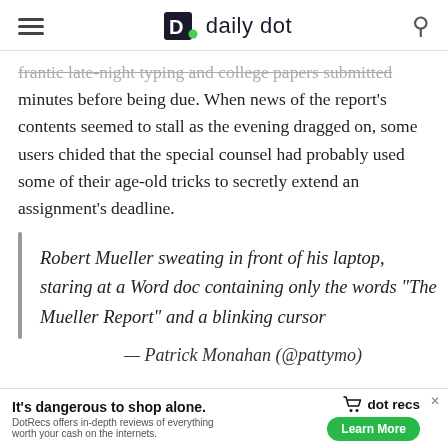daily dot
frantic late-night typing and college papers submitted minutes before being due. When news of the report's contents seemed to stall as the evening dragged on, some users chided that the special counsel had probably used some of their age-old tricks to secretly extend an assignment's deadline.
Robert Mueller sweating in front of his laptop, staring at a Word doc containing only the words “The Mueller Report” and a blinking cursor
— Patrick Monahan (@pattymo)
It’s dangerous to shop alone. dot recs DotRecs offers in-depth reviews of everything worth your cash on the internets. Learn More